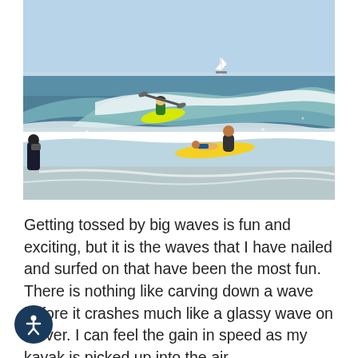[Figure (photo): Ocean surf scene with a kayaker riding a large wave in the background and two surfers (one lying on a yellow surfboard, one kneeling behind) in the foreground shallows. A white sailboat is visible on the horizon. A person watches from the left shore.]
Getting tossed by big waves is fun and exciting, but it is the waves that I have nailed and surfed on that have been the most fun. There is nothing like carving down a wave before it crashes much like a glassy wave on a river. I can feel the gain in speed as my kayak is picked up into the air